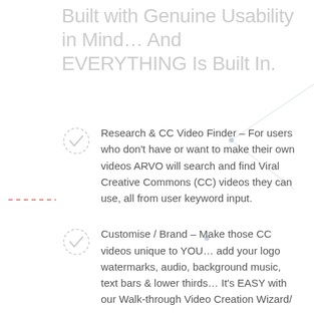Built with Genuine Usability in Mind… And EVERYTHING Is Built In.
Research & CC Video Finder – For users who don't have or want to make their own videos ARVO will search and find Viral Creative Commons (CC) videos they can use, all from user keyword input.
Customise / Brand – Make those CC videos unique to YOU… add your logo watermarks, audio, background music, text bars & lower thirds… It's EASY with our Walk-through Video Creation Wizard/